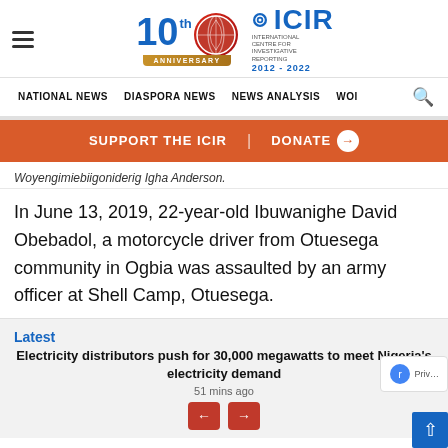ICIR Nigeria - 10th Anniversary 2012-2022 - Navigation bar with NATIONAL NEWS, DIASPORA NEWS, NEWS ANALYSIS, WOR links and search
[Figure (logo): ICIR Nigeria 10th Anniversary logo with globe icon, red and blue colors, ribbon saying Anniversary, ICIR text and 2012-2022]
SUPPORT THE ICIR | DONATE
Woyengimiebiigoniderig Igha Anderson.
In June 13, 2019, 22-year-old Ibuwanighe David Obebadol, a motorcycle driver from Otuesega community in Ogbia was assaulted by an army officer at Shell Camp, Otuesega.
Latest
Electricity distributors push for 30,000 megawatts to meet Nigeria's electricity demand
51 mins ago